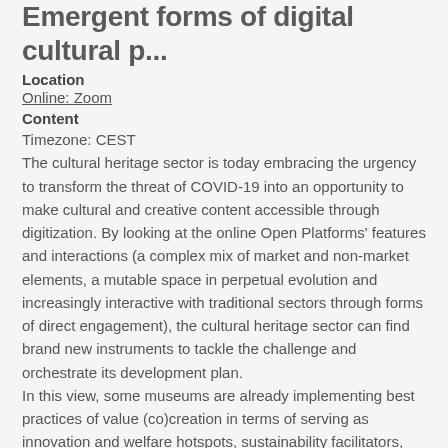Emergent forms of digital cultural p...
Location
Online: Zoom
Content
Timezone: CEST
The cultural heritage sector is today embracing the urgency to transform the threat of COVID-19 into an opportunity to make cultural and creative content accessible through digitization. By looking at the online Open Platforms' features and interactions (a complex mix of market and non-market elements, a mutable space in perpetual evolution and increasingly interactive with traditional sectors through forms of direct engagement), the cultural heritage sector can find brand new instruments to tackle the challenge and orchestrate its development plan.
In this view, some museums are already implementing best practices of value (co)creation in terms of serving as innovation and welfare hotspots, sustainability facilitators, social cohesion gateways, by digitizing and opening their collections and activities to the possibility of creative